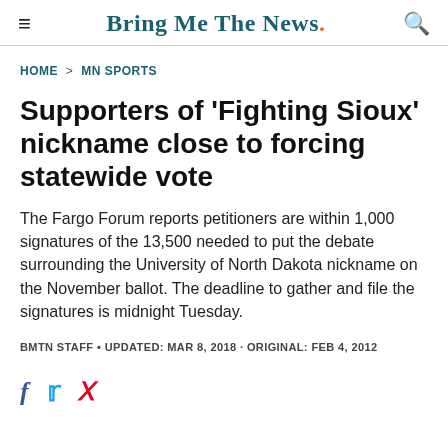Bring Me The News.
HOME > MN SPORTS
Supporters of 'Fighting Sioux' nickname close to forcing statewide vote
The Fargo Forum reports petitioners are within 1,000 signatures of the 13,500 needed to put the debate surrounding the University of North Dakota nickname on the November ballot. The deadline to gather and file the signatures is midnight Tuesday.
BMTN STAFF • UPDATED: MAR 8, 2018 · ORIGINAL: FEB 4, 2012
[Figure (other): Social media sharing icons: Facebook (f), Twitter (bird), Pinterest (P)]